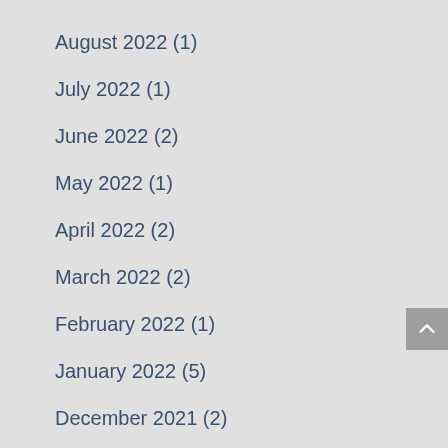August 2022 (1)
July 2022 (1)
June 2022 (2)
May 2022 (1)
April 2022 (2)
March 2022 (2)
February 2022 (1)
January 2022 (5)
December 2021 (2)
November 2021 (3)
October 2021 (2)
September 2021 (2)